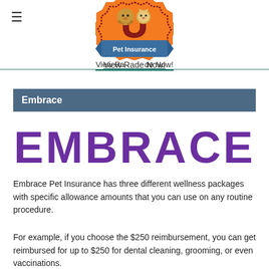≡   View Rates ... de Now!
[Figure (logo): U Pet Insurance logo — orange badge with a block letter U, a dog and cat peeking over it, and a blue ribbon banner reading 'Pet Insurance']
Embrace
[Figure (logo): EMBRACE wordmark in large bold purple serif-style text]
Embrace Pet Insurance has three different wellness packages with specific allowance amounts that you can use on any routine procedure.
For example, if you choose the $250 reimbursement, you can get reimbursed for up to $250 for dental cleaning, grooming, or even vaccinations.